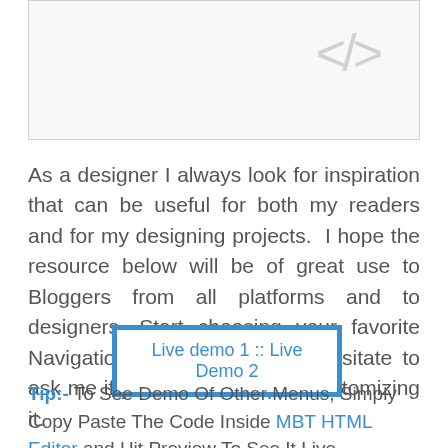[Figure (illustration): A light gray code editor box with a gray HTML/code icon '</>' in the upper right corner]
As a designer I always look for inspiration that can be useful for both my readers and for my designing projects. I hope the resource below will be of great use to Bloggers from all platforms and to designers. Start choosing your favorite Navigation Menu and do not hesitate to ask me if you needed help in customizing it.
Live demo 1 :: Live Demo 2
Tip:- To See Demo Of Other Menus, Simply Copy Paste The Code Inside MBT HTML Editor and Hit Preview To See It Live.